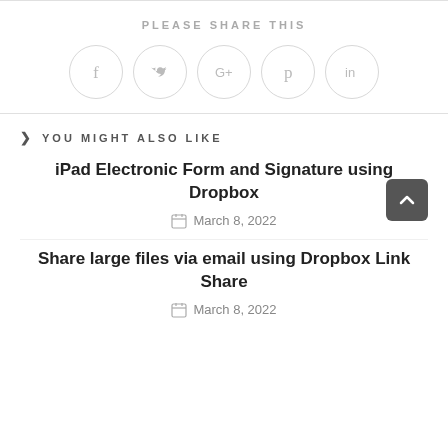PLEASE SHARE THIS
[Figure (infographic): Row of five social media icon buttons (Facebook, Twitter, Google+, Pinterest, LinkedIn) as circular outlined icons in light grey]
YOU MIGHT ALSO LIKE
iPad Electronic Form and Signature using Dropbox
March 8, 2022
Share large files via email using Dropbox Link Share
March 8, 2022